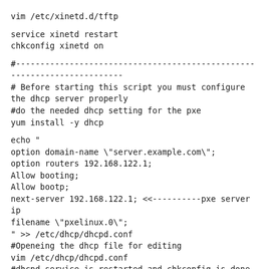vim /etc/xinetd.d/tftp
service xinetd restart
chkconfig xinetd on
#------------------------------------------------------------------------
# Before starting this script you must configure the dhcp server properly
#do the needed dhcp setting for the pxe
yum install -y dhcp
echo "
option domain-name \"server.example.com\";
option routers 192.168.122.1;
Allow booting;
Allow bootp;
next-server 192.168.122.1; <<----------pxe server ip
filename \"pxelinux.0\";
" >> /etc/dhcp/dhcpd.conf
#Openeing the dhcp file for editing
vim /etc/dhcp/dhcpd.conf
#dhcpd service is restarted and chkconfig is done